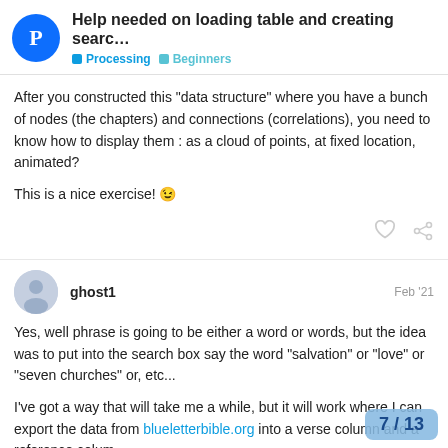Help needed on loading table and creating searc... | Processing | Beginners
After you constructed this “data structure” where you have a bunch of nodes (the chapters) and connections (correlations), you need to know how to display them : as a cloud of points, at fixed location, animated?
This is a nice exercise! 😉
ghost1  Feb '21
Yes, well phrase is going to be either a word or words, but the idea was to put into the search box say the word “salvation” or “love” or “seven churches” or, etc...
I’ve got a way that will take me a while, but it will work where I can export the data from blueletterbible.org into a verse column and a reference column